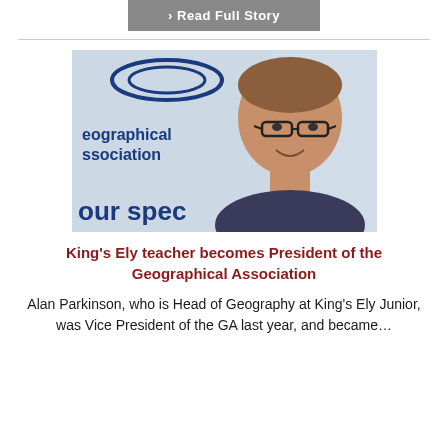› Read Full Story
[Figure (photo): Headshot of Alan Parkinson, a man with glasses and short brown hair, smiling in front of a Geographical Association banner.]
King's Ely teacher becomes President of the Geographical Association
Alan Parkinson, who is Head of Geography at King's Ely Junior, was Vice President of the GA last year, and became…